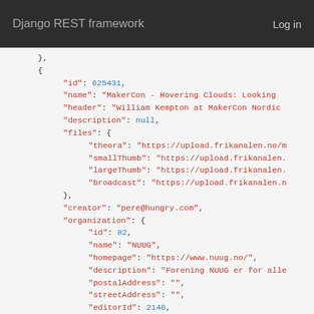Django REST framework   Log in
JSON code block showing an object with id: 625431, name: MakerCon - Hovering Clouds: Looking, header: William Kempton at MakerCon Nordic, description: null, files: { theora, smallThumb, largeThumb, broadcast URLs }, creator: pere@hungry.com, organization: { id: 82, name: NUUG, homepage: https://www.nuug.no/, description: Forening NUUG er for alle, postalAddress: "", streetAddress: "", editorId: 2148, editorName: David Noble, editorEmail: davidwnoble@gmail.com }